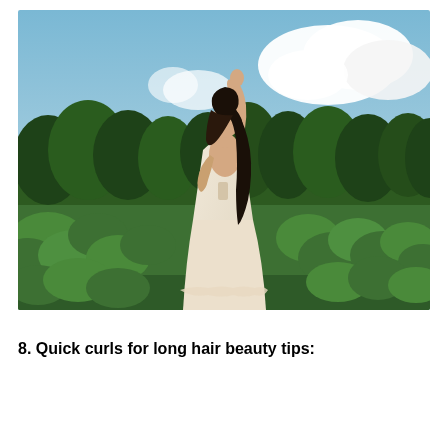[Figure (photo): A woman in a long white flowy dress standing in a green field with large-leafed plants. She has long dark hair and her arm is raised above her head. Background shows tall trees and a partly cloudy blue sky.]
8. Quick curls for long hair beauty tips: